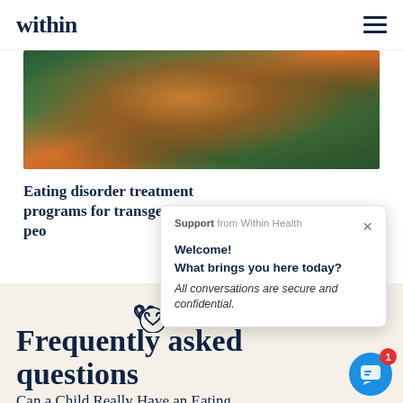within
[Figure (photo): Close-up photo of a person partially obscured by orange flowers and green foliage]
Eating disorder treatment programs for transgender peo
[Figure (screenshot): Chat popup from Within Health: Support from Within Health. Welcome! What brings you here today? All conversations are secure and confidential.]
Frequently asked questions
Can a Child Really Have an Eating